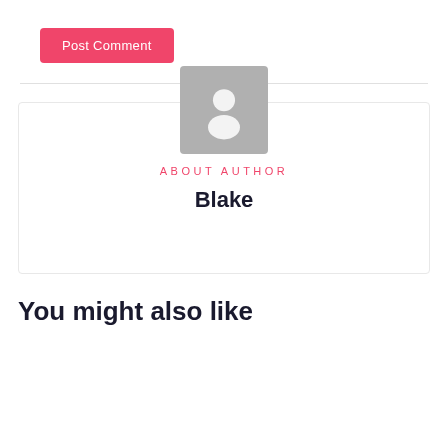Post Comment
[Figure (illustration): Default user avatar placeholder — grey rounded square with white silhouette of a person (head circle and shoulders)]
ABOUT AUTHOR
Blake
You might also like